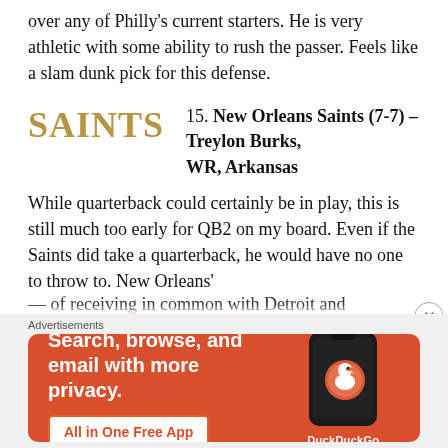over any of Philly's current starters. He is very athletic with some ability to rush the passer. Feels like a slam dunk pick for this defense.
15. New Orleans Saints (7-7) – Treylon Burks, WR, Arkansas
While quarterback could certainly be in play, this is still much too early for QB2 on my board. Even if the Saints did take a quarterback, he would have no one to throw to. New Orleans'
[Figure (other): DuckDuckGo advertisement banner with orange background. Text reads: Search, browse, and email with more privacy. All in One Free App. Shows DuckDuckGo logo and phone mockup.]